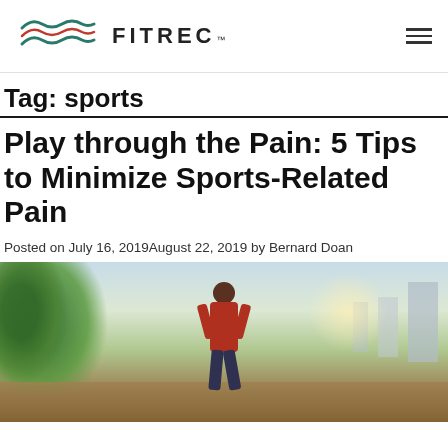FITREC
Tag: sports
Play through the Pain: 5 Tips to Minimize Sports-Related Pain
Posted on July 16, 2019August 22, 2019 by Bernard Doan
[Figure (photo): A runner or athlete photographed outdoors in an urban park setting with trees and buildings in the background, sunlight visible.]